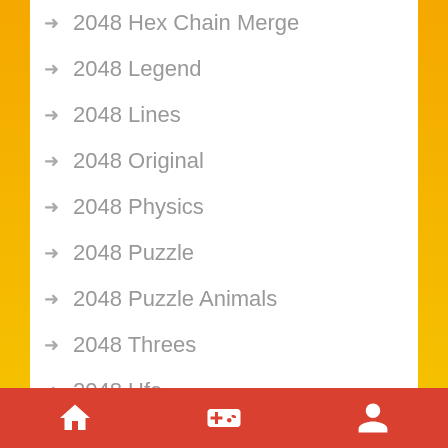2048 Hex Chain Merge
2048 Legend
2048 Lines
2048 Original
2048 Physics
2048 Puzzle
2048 Puzzle Animals
2048 Threes
2048 Ufo
2048 X2 Merge Blocks
2048cardgame
21 Solitaire
25 December
2d Car Runner
2d Game Ariplane Wars ..
Home | Games | Profile